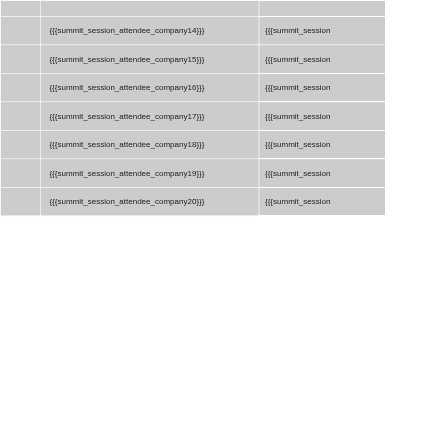|  | company | session_attendee |
| --- | --- | --- |
|  | {{{summit_session_attendee_company14}}} | {{{summit_session... |
|  | {{{summit_session_attendee_company15}}} | {{{summit_session... |
|  | {{{summit_session_attendee_company16}}} | {{{summit_session... |
|  | {{{summit_session_attendee_company17}}} | {{{summit_session... |
|  | {{{summit_session_attendee_company18}}} | {{{summit_session... |
|  | {{{summit_session_attendee_company19}}} | {{{summit_session... |
|  | {{{summit_session_attendee_company20}}} | {{{summit_session... |
Categories:  Summit 2011 Working Session | Summit 2011